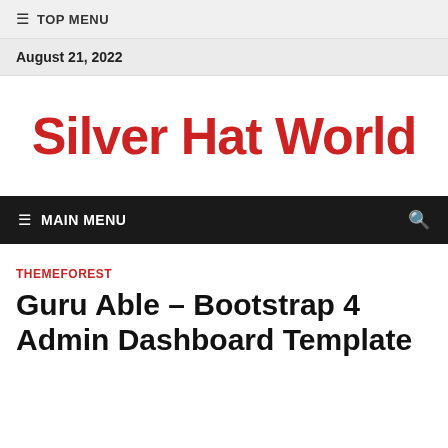≡ TOP MENU
August 21, 2022
Silver Hat World
≡ MAIN MENU
THEMEFOREST
Guru Able – Bootstrap 4 Admin Dashboard Template